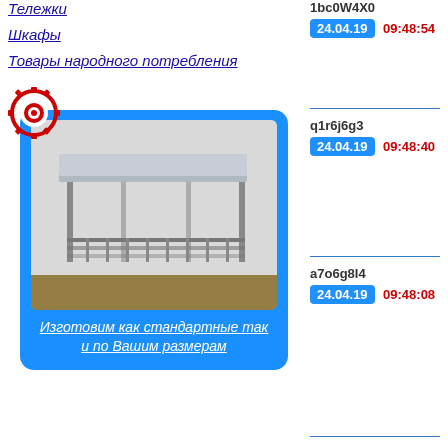Тележки
Шкафы
Товары народного потребления
[Figure (photo): Blue card with a photo of a metal utility table with shelf, and italic white underlined text: Изготовим как стандартные так и по Вашим размерам. Red cogwheel logo badge overlapping top-left corner.]
1bc0W4X0
24.04.19  09:48:54
q1r6j6g3
24.04.19  09:48:40
a7o6g8l4
24.04.19  09:48:08